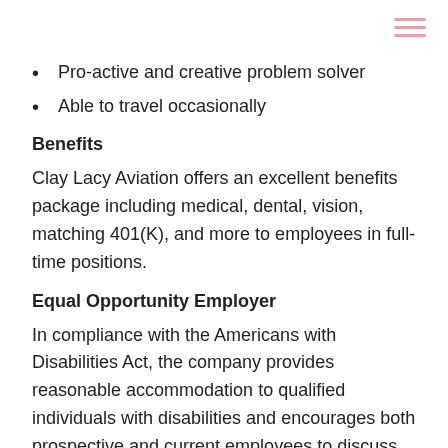Pro-active and creative problem solver
Able to travel occasionally
Benefits
Clay Lacy Aviation offers an excellent benefits package including medical, dental, vision, matching 401(K), and more to employees in full-time positions.
Equal Opportunity Employer
In compliance with the Americans with Disabilities Act, the company provides reasonable accommodation to qualified individuals with disabilities and encourages both prospective and current employees to discuss potential accommodations